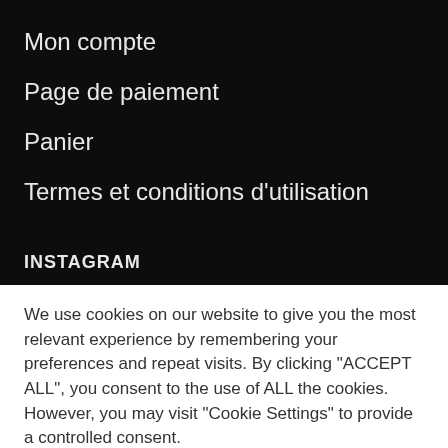Mon compte
Page de paiement
Panier
Termes et conditions d’utilisation
INSTAGRAM
We use cookies on our website to give you the most relevant experience by remembering your preferences and repeat visits. By clicking “ACCEPT ALL”, you consent to the use of ALL the cookies. However, you may visit "Cookie Settings" to provide a controlled consent.
Cookie Settings | REJECT ALL | ACCEPT ALL